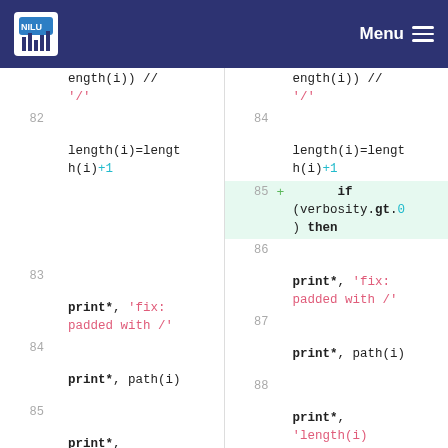NILU logo | Menu
[Figure (screenshot): Side-by-side code diff view showing Fortran source code. Left panel shows lines 82-86, right panel shows lines 84-90. Line 85 (right) adds 'if (verbosity.gt.0) then' and line 89 (right) adds 'endif', both highlighted in green.]